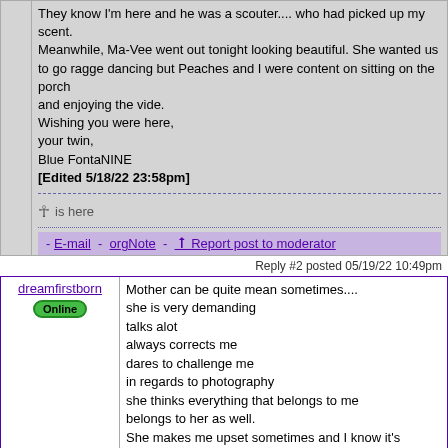They know I'm here and he was a scouter.... who had picked up my scent.
Meanwhile, Ma-Vee went out tonight looking beautiful. She wanted us to go ragge dancing but Peaches and I were content on sitting on the porch
and enjoying the vide.
Wishing you were here,
your twin,
Blue FontaNINE
[Edited 5/18/22 23:58pm]
☥ is here
- E-mail - orgNote - ↑ Report post to moderator
Reply #2 posted 05/19/22 10:49pm
dreamfirstborn
Online
Mother can be quite mean sometimes....
she is very demanding
talks alot
always corrects me
dares to challenge me
in regards to photography
she thinks everything that belongs to me
belongs to her as well.
She makes me upset sometimes and I know it's
not her fault. I know. BUT SHE DOES
When ANDROGYNINE died, Here in the quarters
They could hear my tears for miles.
the Main Squeez set it off.
she rubbed my back,
she felt my pain, she felt it.
and i never felt so bad in my life
but this time it was different.. it was different this time.
Everything was crashing down all around me and I was holding
it together the best that i could.
she said honey, take this.